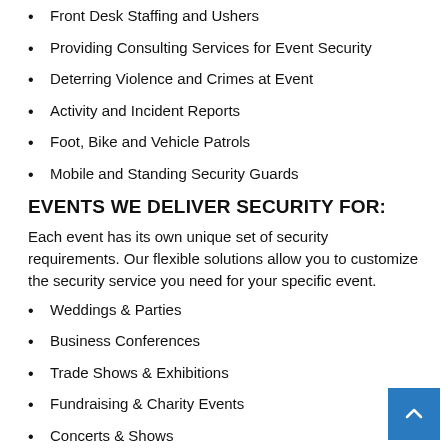Front Desk Staffing and Ushers
Providing Consulting Services for Event Security
Deterring Violence and Crimes at Event
Activity and Incident Reports
Foot, Bike and Vehicle Patrols
Mobile and Standing Security Guards
EVENTS WE DELIVER SECURITY FOR:
Each event has its own unique set of security requirements. Our flexible solutions allow you to customize the security service you need for your specific event.
Weddings & Parties
Business Conferences
Trade Shows & Exhibitions
Fundraising & Charity Events
Concerts & Shows
Fairs & Festivals